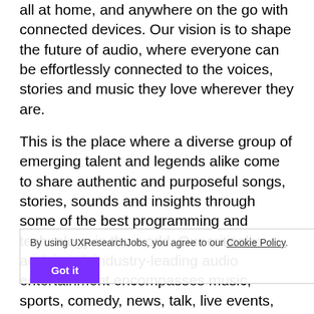all at home, and anywhere on the go with connected devices. Our vision is to shape the future of audio, where everyone can be effortlessly connected to the voices, stories and music they love wherever they are.
This is the place where a diverse group of emerging talent and legends alike come to share authentic and purposeful songs, stories, sounds and insights through some of the best programming and technology in the world. Our critically-acclaimed, industry-leading audio entertainment encompasses music, sports, comedy, news, talk, live events, and podcasting jobs, each of our employees plays a vital part in bringing SiriusXM's vision to life every day.

SiriusXM is the leading audio entertainment company in North America, and the premier